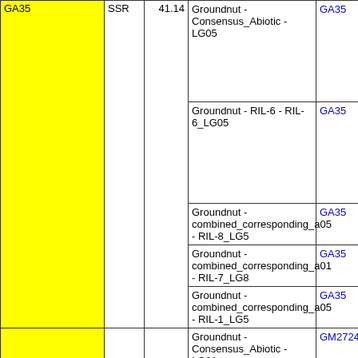| Marker | Type | Position | Map | Name |
| --- | --- | --- | --- | --- |
| GA35 | SSR | 41.14 | Groundnut - Consensus_Abiotic - LG05 | GA35 |
|  |  |  | Groundnut - RIL-6 - RIL-6_LG05 | GA35 |
|  |  |  | Groundnut - combined_corresponding_a05 - RIL-8_LG5 | GA35 |
|  |  |  | Groundnut - combined_corresponding_a01 - RIL-7_LG8 | GA35 |
|  |  |  | Groundnut - combined_corresponding_a05 - RIL-1_LG5 | GA35 |
|  |  |  | Groundnut - Consensus_Abiotic - LG01 | GM2724b |
|  |  |  | Groundnut - Ref_consensus... |  |